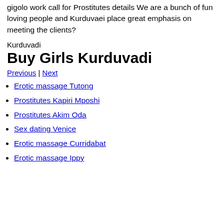gigolo work call for Prostitutes details We are a bunch of fun loving people and Kurduvaei place great emphasis on meeting the clients?
Kurduvadi
Buy Girls Kurduvadi
Previous | Next
Erotic massage Tutong
Prostitutes Kapiri Mposhi
Prostitutes Akim Oda
Sex dating Venice
Erotic massage Curridabat
Erotic massage Ippy